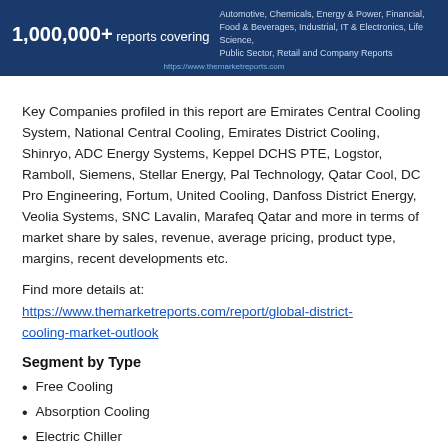1,000,000+ reports covering Automotive, Chemicals, Energy & Power, Financial, Food & Beverages, Industrial, IT & Electronics, Life Science, Public Sector, Retail and Company Reports https://www.themarketreports.com
Key Companies profiled in this report are Emirates Central Cooling System, National Central Cooling, Emirates District Cooling, Shinryo, ADC Energy Systems, Keppel DCHS PTE, Logstor, Ramboll, Siemens, Stellar Energy, Pal Technology, Qatar Cool, DC Pro Engineering, Fortum, United Cooling, Danfoss District Energy, Veolia Systems, SNC Lavalin, Marafeq Qatar and more in terms of market share by sales, revenue, average pricing, product type, margins, recent developments etc.
Find more details at:
https://www.themarketreports.com/report/global-district-cooling-market-outlook
Segment by Type
Free Cooling
Absorption Cooling
Electric Chiller